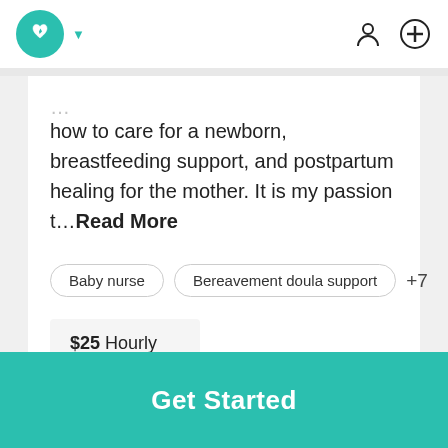[Figure (logo): Teal circular logo with a heart and lightning bolt icon, followed by a teal chevron dropdown arrow, with a person icon and a plus-circle icon on the right]
how to care for a newborn, breastfeeding support, and postpartum healing for the mother. It is my passion t…Read More
Baby nurse
Bereavement doula support
+7
$25 Hourly
Get Started